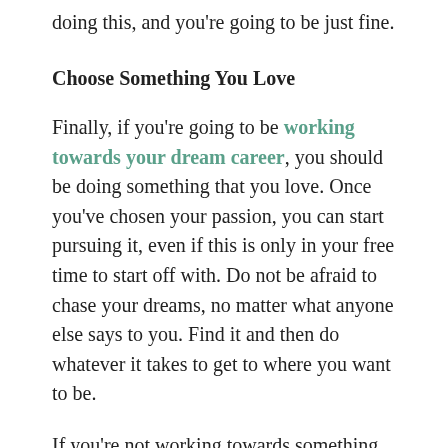doing this, and you're going to be just fine.
Choose Something You Love
Finally, if you're going to be working towards your dream career, you should be doing something that you love. Once you've chosen your passion, you can start pursuing it, even if this is only in your free time to start off with. Do not be afraid to chase your dreams, no matter what anyone else says to you. Find it and then do whatever it takes to get to where you want to be.
If you're not working towards something